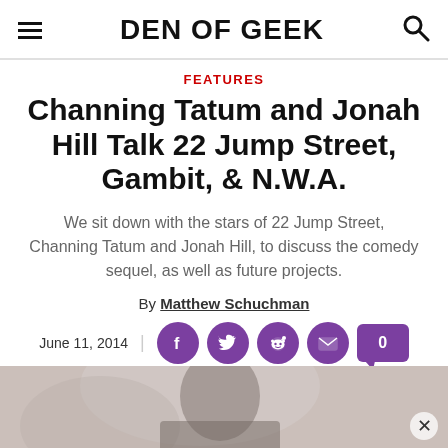DEN OF GEEK
FEATURES
Channing Tatum and Jonah Hill Talk 22 Jump Street, Gambit, & N.W.A.
We sit down with the stars of 22 Jump Street, Channing Tatum and Jonah Hill, to discuss the comedy sequel, as well as future projects.
By Matthew Schuchman
June 11, 2014
[Figure (other): Partial photograph of a person at the bottom of the page, overlaid with a close (X) button in the bottom right corner.]